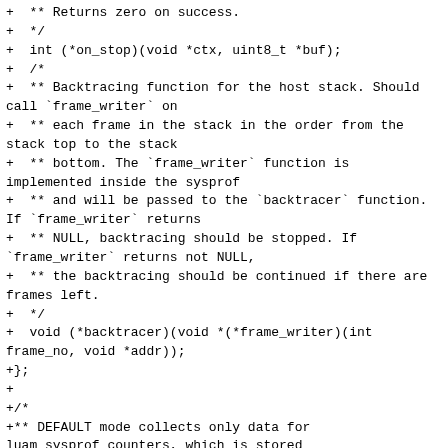+ ** Returns zero on success.
+ */
+ int (*on_stop)(void *ctx, uint8_t *buf);
+ /*
+ ** Backtracing function for the host stack. Should call `frame_writer` on
+ ** each frame in the stack in the order from the stack top to the stack
+ ** bottom. The `frame_writer` function is implemented inside the sysprof
+ ** and will be passed to the `backtracer` function. If `frame_writer` returns
+ ** NULL, backtracing should be stopped. If `frame_writer` returns not NULL,
+ ** the backtracing should be continued if there are frames left.
+ */
+ void (*backtracer)(void *(*frame_writer)(int frame_no, void *addr));
+};
+
+/*
+** DEFAULT mode collects only data for luam_sysprof_counters, which is stored
+** in memory and can be collected with luaM_sysprof_report after profiler
+** stops.
+*/
+#define LUAM_SYSPROF_DEFAULT 0
+/*